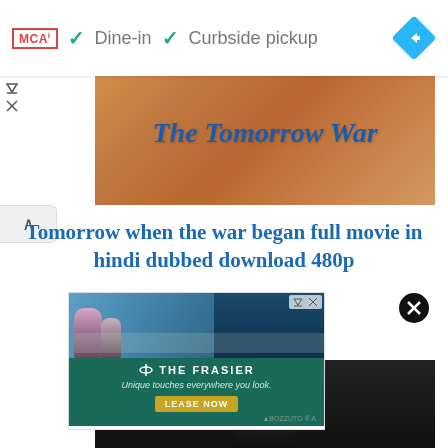[Figure (screenshot): Top navigation bar with MCA badge, Dine-in and Curbside pickup checkmarks, and blue diamond navigation icon]
[Figure (screenshot): Movie banner image for The Tomorrow War with orange/warm background and blue italic text]
Tomorrow when the war began full movie in hindi dubbed download 480p
[Figure (screenshot): Advertisement for The Frasier apartment - outdoor patio photo with tagline 'Unique touches everywhere you look.' and LEASE NOW button]
[Figure (screenshot): Bottom portion of movie video player with dark background]